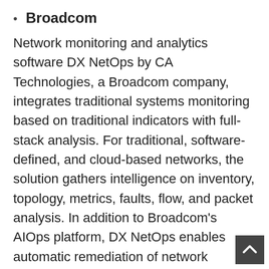Broadcom
Network monitoring and analytics software DX NetOps by CA Technologies, a Broadcom company, integrates traditional systems monitoring based on traditional indicators with full-stack analysis. For traditional, software-defined, and cloud-based networks, the solution gathers intelligence on inventory, topology, metrics, faults, flow, and packet analysis. In addition to Broadcom's AIOps platform, DX NetOps enables automatic remediation of network problems through the use of DX NetOps.
Catchpoint
Catchpoint Network Insights provides network engineers and operations teams with full visibility into the OSI stack from Layer 3 through Layer 7. Insights for Networks